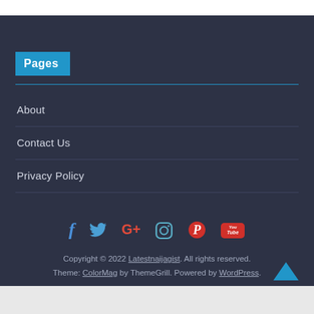Pages
About
Contact Us
Privacy Policy
[Figure (infographic): Social media icons row: Facebook, Twitter, Google+, Instagram, Pinterest, YouTube]
Copyright © 2022 Latestnaijagist. All rights reserved. Theme: ColorMag by ThemeGrill. Powered by WordPress.